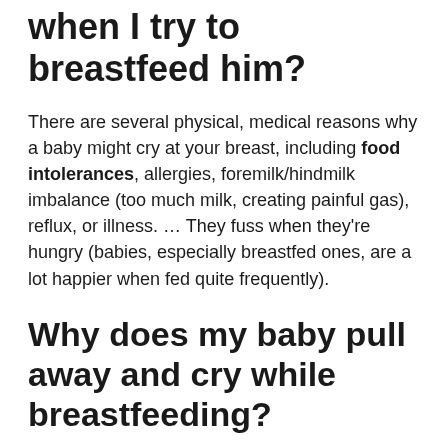Why does my baby cry when I try to breastfeed him?
There are several physical, medical reasons why a baby might cry at your breast, including food intolerances, allergies, foremilk/hindmilk imbalance (too much milk, creating painful gas), reflux, or illness. … They fuss when they’re hungry (babies, especially breastfed ones, are a lot happier when fed quite frequently).
Why does my baby pull away and cry while breastfeeding?
(partial text cut off at bottom of page)